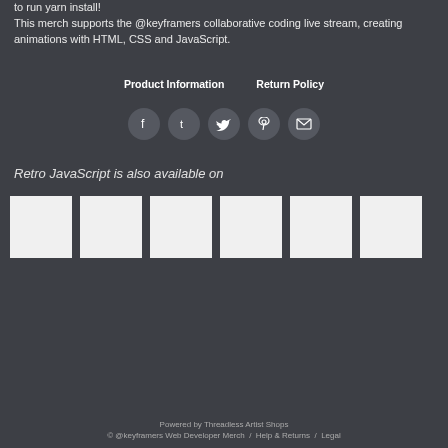to run yarn install!
This merch supports the @keyframers collaborative coding live stream, creating animations with HTML, CSS and JavaScript.
Product Information   Return Policy
[Figure (infographic): Row of 5 social media icon buttons (Facebook, Tumblr, Twitter, Pinterest, Email) as dark circular icons]
Retro JavaScript is also available on
[Figure (photo): Six white product thumbnail images in a horizontal row]
Powered by Threadless Artist Shops
© @keyframers Web Developer Merch / Help & Returns / Legal